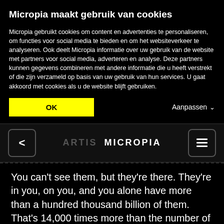Micropia maakt gebruik van cookies
Micropia gebruikt cookies om content en advertenties te personaliseren, om functies voor social media te bieden en om het websiteverkeer te analyseren. Ook deelt Micropia informatie over uw gebruik van de website met partners voor social media, adverteren en analyse. Deze partners kunnen gegevens combineren met andere informatie die u heeft verstrekt of die zijn verzameld op basis van uw gebruik van hun services. U gaat akkoord met cookies als u de website blijft gebruiken.
OK
Aanpassen ∨
[Figure (screenshot): Navigation bar with back arrow button on left, ARTIS MICROPIA logo in center, hamburger menu button on right]
You can't see them, but they're there. They're in you, on you, and you alone have more than a hundred thousand billion of them. That's 14,000 times more than the number of people on earth. They're in your nose and your ears, under your armpits, in your eyes, mouth and stomach, on your skin and on the bottom of your feet. They're everywhere, actually. And that's a good thing. They protect you and help you stay healthy. Get to know